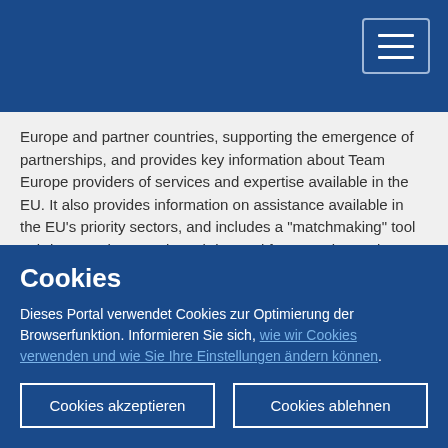Europe and partner countries, supporting the emergence of partnerships, and provides key information about Team Europe providers of services and expertise available in the EU. It also provides information on assistance available in the EU's priority sectors, and includes a "matchmaking" tool to bring together supply and demand for expertise and assistance.
An external feasibility study funded by DG INTPA took place in 2021, with the CoR being involved through a focus group. It pointed towards a closer relationship between LRAs and EU delegations, where a shared portal could be a positive future
Cookies
Dieses Portal verwendet Cookies zur Optimierung der Browserfunktion. Informieren Sie sich, wie wir Cookies verwenden und wie Sie Ihre Einstellungen ändern können.